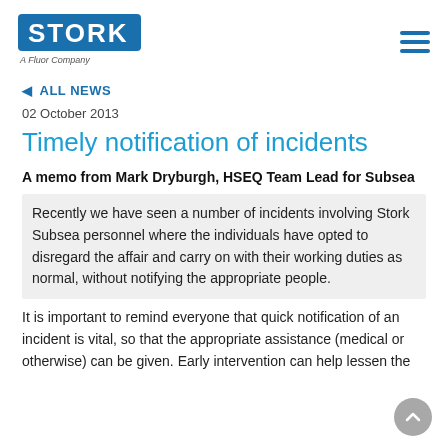[Figure (logo): Stork logo - blue rectangle with white STORK text, below it 'A Fluor Company' in grey italic]
◄  ALL NEWS
02 October 2013
Timely notification of incidents
A memo from Mark Dryburgh, HSEQ Team Lead for Subsea
Recently we have seen a number of incidents involving Stork Subsea personnel where the individuals have opted to disregard the affair and carry on with their working duties as normal, without notifying the appropriate people.
It is important to remind everyone that quick notification of an incident is vital, so that the appropriate assistance (medical or otherwise) can be given.  Early intervention can help lessen the